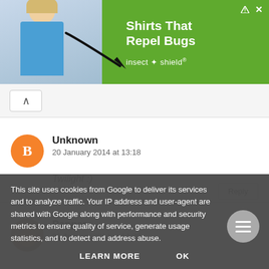[Figure (screenshot): Advertisement banner for Insect Shield: 'Shirts That Repel Bugs' with a woman in a blue shirt and a black arrow pointing to her shirt. Green background with white text and Insect Shield logo.]
Unknown
20 January 2014 at 13:18
Twilight :)
Pappers
20 January 2014 at 14:39
This site uses cookies from Google to deliver its services and to analyze traffic. Your IP address and user-agent are shared with Google along with performance and security metrics to ensure quality of service, generate usage statistics, and to detect and address abuse.
LEARN MORE     OK